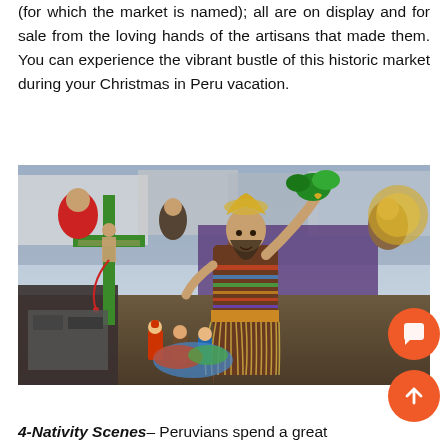(for which the market is named); all are on display and for sale from the loving hands of the artisans that made them. You can experience the vibrant bustle of this historic market during your Christmas in Peru vacation.
[Figure (photo): A colorful outdoor market scene in Peru showing religious figurines, crosses, and a man in traditional Andean costume holding up a plant branch, surrounded by market stalls and other vendors.]
4-Nativity Scenes– Peruvians spend a great